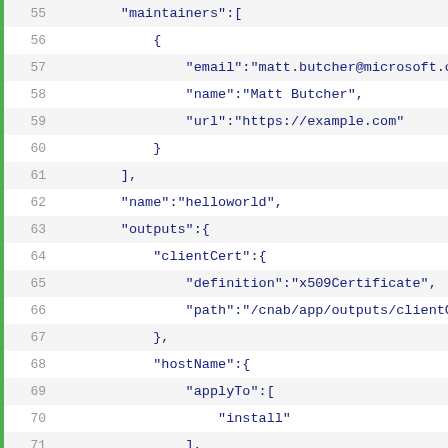[Figure (screenshot): Code editor view showing JSON content with line numbers 55-76, syntax highlighted in blue/dark blue on light background with alternating row colors and green left border. The JSON shows maintainers array, name, and outputs object fields.]